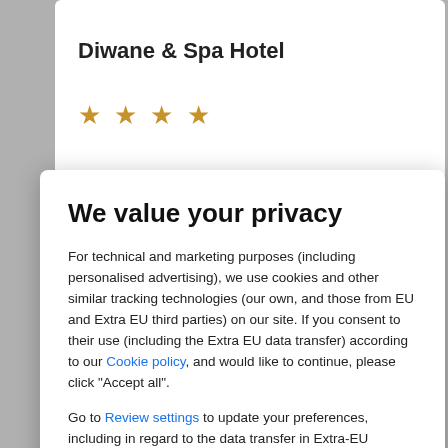Diwane & Spa Hotel
★ ★ ★ ★
We value your privacy
For technical and marketing purposes (including personalised advertising), we use cookies and other similar tracking technologies (our own, and those from EU and Extra EU third parties) on our site. If you consent to their use (including the Extra EU data transfer) according to our Cookie policy, and would like to continue, please click "Accept all".
Go to Review settings to update your preferences, including in regard to the data transfer in Extra-EU countries, or click here to continue without non mandatory cookies.
ACCEPT ALL
Other hotel options
Aam Transient and Guest House Manila Hotel